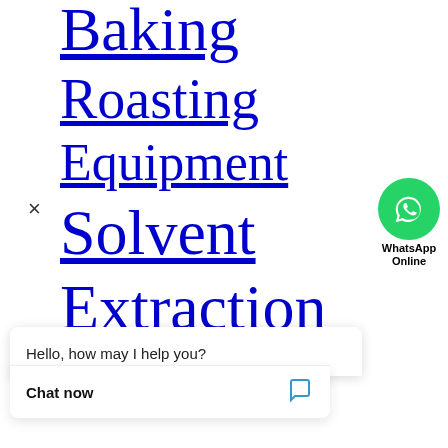Baking
Roasting
Equipment
[Figure (logo): WhatsApp Online chat bubble with green phone icon and text 'WhatsApp Online']
Solvent
Extraction
Hello, how may I help you?
Chat now